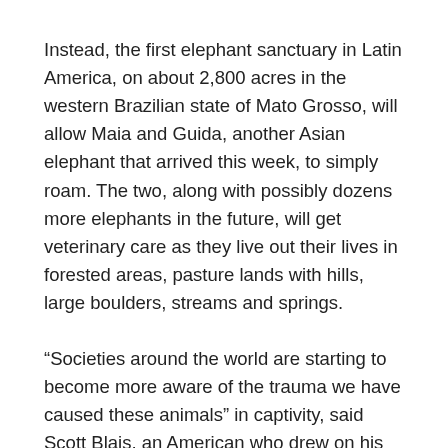Instead, the first elephant sanctuary in Latin America, on about 2,800 acres in the western Brazilian state of Mato Grosso, will allow Maia and Guida, another Asian elephant that arrived this week, to simply roam. The two, along with possibly dozens more elephants in the future, will get veterinary care as they live out their lives in forested areas, pasture lands with hills, large boulders, streams and springs.
“Societies around the world are starting to become more aware of the trauma we have caused these animals” in captivity, said Scott Blais, an American who drew on his experience co-founding a similar sanctuary in Tennessee in 1995 to help get this one off the ground. “We need to build solutions. It’s not enough to simply say they need a different life.”